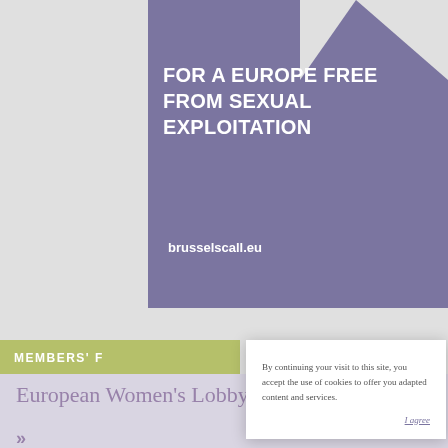[Figure (screenshot): Purple banner with white geometric shapes, title text 'FOR A EUROPE FREE FROM SEXUAL EXPLOITATION' and URL 'brusselscall.eu']
FOR A EUROPE FREE FROM SEXUAL EXPLOITATION
brusselscall.eu
MEMBERS' F...
European Women's Lobby Members Forum
>>
By continuing your visit to this site, you accept the use of cookies to offer you adapted content and services.
I agree
NEWSLETTER